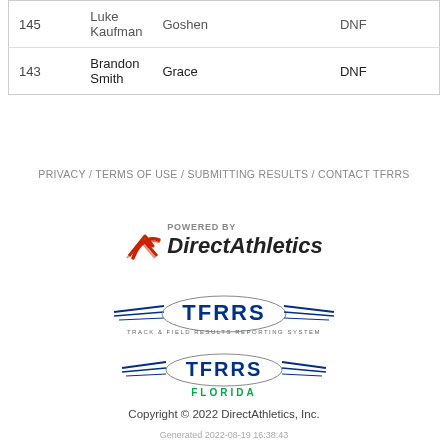| # | Name | School | Result |  |
| --- | --- | --- | --- | --- |
| 145 | Luke Kaufman | Goshen | DNF |  |
| 143 | Brandon Smith | Grace | DNF |  |
PRIVACY / TERMS OF USE / SUBMITTING RESULTS / CONTACT TFRRS
[Figure (logo): Powered by Direct Athletics logo with red arrow icon and bold italic text]
[Figure (logo): TFRRS Track & Field Results Reporting System logo with blue winged oval design]
[Figure (logo): TFRRS Florida logo with blue winged oval design and green FLORIDA text]
Copyright © 2022 DirectAthletics, Inc.
Generated 2022-08-19 16:38:43